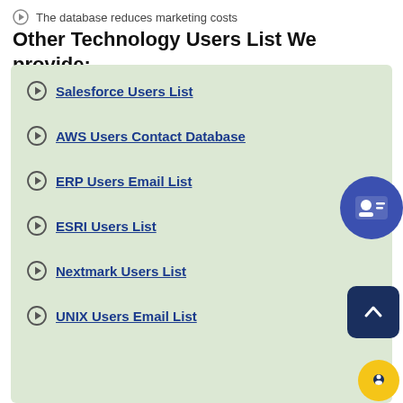The database reduces marketing costs
Other Technology Users List We provide:
Salesforce Users List
AWS Users Contact Database
ERP Users Email List
ESRI Users List
Nextmark Users List
UNIX Users Email List